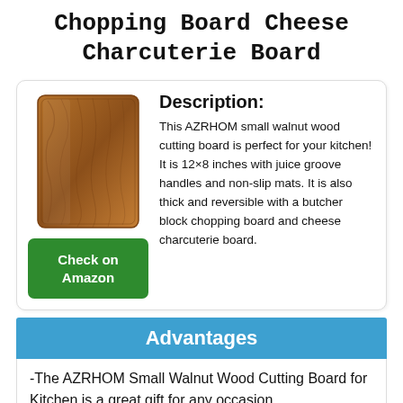Chopping Board Cheese Charcuterie Board
[Figure (photo): Photo of a walnut wood cutting board with rounded corners and wood grain texture]
Check on Amazon
Description:
This AZRHOM small walnut wood cutting board is perfect for your kitchen! It is 12×8 inches with juice groove handles and non-slip mats. It is also thick and reversible with a butcher block chopping board and cheese charcuterie board.
Advantages
-The AZRHOM Small Walnut Wood Cutting Board for Kitchen is a great gift for any occasion.